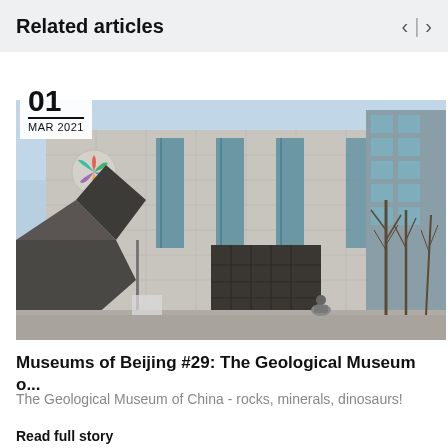Related articles
01 MAR 2021
[Figure (photo): Exterior of the Geological Museum of China building in Beijing - a large modern building with tiled facade, tall vertical windows, and a colorful pinwheel logo on the left side. Bare winter trees visible on the right. A person is seated in the foreground.]
Museums of Beijing #29: The Geological Museum o...
The Geological Museum of China - rocks, minerals, dinosaurs!
Read full story